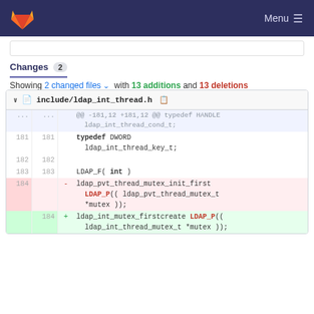GitLab Menu
Changes 2
Showing 2 changed files with 13 additions and 13 deletions
| old_ln | new_ln | op | code |
| --- | --- | --- | --- |
| ... | ... |  | @@ -181,12 +181,12 @@ typedef HANDLE ldap_int_thread_cond_t; |
| 181 | 181 |  | typedef DWORD ldap_int_thread_key_t; |
| 182 | 182 |  |  |
| 183 | 183 |  | LDAP_F( int ) |
| 184 |  | - | ldap_pvt_thread_mutex_init_first LDAP_P(( ldap_pvt_thread_mutex_t *mutex )); |
|  | 184 | + | ldap_int_mutex_firstcreate LDAP_P(( ldap_int_thread_mutex_t *mutex )); |